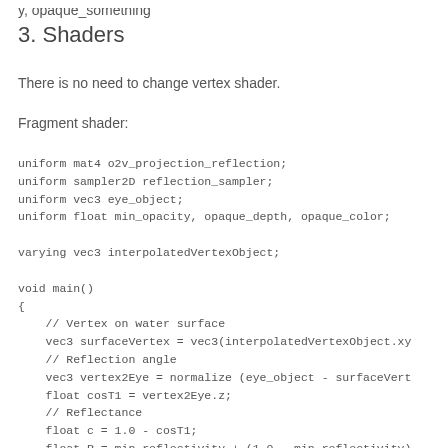3. Shaders
There is no need to change vertex shader.
Fragment shader:
uniform mat4 o2v_projection_reflection;
uniform sampler2D reflection_sampler;
uniform vec3 eye_object;
uniform float min_opacity, opaque_depth, opaque_color;

varying vec3 interpolatedVertexObject;

void main()
{
    // Vertex on water surface
    vec3 surfaceVertex = vec3(interpolatedVertexObject.xy
    // Reflection angle
    vec3 vertex2Eye = normalize (eye_object - surfaceVert
    float cosT1 = vertex2Eye.z;
    // Reflectance
    float c = 1.0 - cosT1;
    float R = min_reflectivity + (1.0 - min_reflectivity)